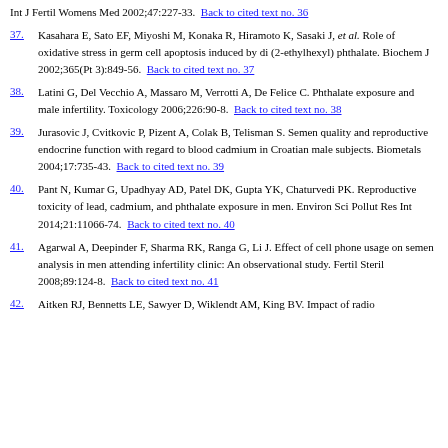Effects of temperature on sperm motion characteristics and reactive oxygen species. Int J Fertil Womens Med 2002;47:227-33.  Back to cited text no. 36
37. Kasahara E, Sato EF, Miyoshi M, Konaka R, Hiramoto K, Sasaki J, et al. Role of oxidative stress in germ cell apoptosis induced by di (2-ethylhexyl) phthalate. Biochem J 2002;365(Pt 3):849-56.  Back to cited text no. 37
38. Latini G, Del Vecchio A, Massaro M, Verrotti A, De Felice C. Phthalate exposure and male infertility. Toxicology 2006;226:90-8.  Back to cited text no. 38
39. Jurasovic J, Cvitkovic P, Pizent A, Colak B, Telisman S. Semen quality and reproductive endocrine function with regard to blood cadmium in Croatian male subjects. Biometals 2004;17:735-43.  Back to cited text no. 39
40. Pant N, Kumar G, Upadhyay AD, Patel DK, Gupta YK, Chaturvedi PK. Reproductive toxicity of lead, cadmium, and phthalate exposure in men. Environ Sci Pollut Res Int 2014;21:11066-74.  Back to cited text no. 40
41. Agarwal A, Deepinder F, Sharma RK, Ranga G, Li J. Effect of cell phone usage on semen analysis in men attending infertility clinic: An observational study. Fertil Steril 2008;89:124-8.  Back to cited text no. 41
42. Aitken RJ, Bennetts LE, Sawyer D, Wiklendt AM, King BV. Impact of radio